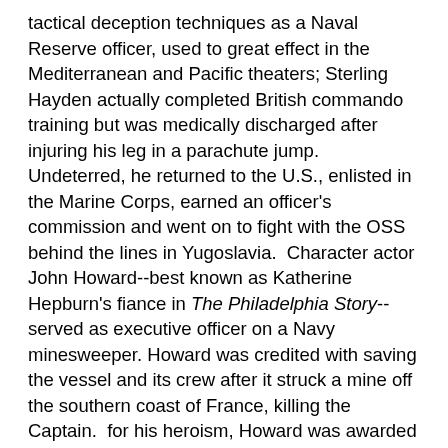tactical deception techniques as a Naval Reserve officer, used to great effect in the Mediterranean and Pacific theaters; Sterling Hayden actually completed British commando training but was medically discharged after injuring his leg in a parachute jump.  Undeterred, he returned to the U.S., enlisted in the Marine Corps, earned an officer's commission and went on to fight with the OSS behind the lines in Yugoslavia.  Character actor John Howard--best known as Katherine Hepburn's fiance in The Philadelphia Story--served as executive officer on a Navy minesweeper. Howard was credited with saving the vessel and its crew after it struck a mine off the southern coast of France, killing the Captain.  for his heroism, Howard was awarded the Navy Cross.
Yet, among all from Hollywood who served, only one became a fighter ace.  That distinction belonged to actor Wayne Morris, who seemed headed for stardom in the late 1930s, after his performance in Kid Galahad, alongside Edward G. Robinson, Humphrey Bogart and Bette Davis.  At 6'2" with an athlete's physique, Morris looked the part of a heavyweight boxer.  Critics praised his "natural, realistic